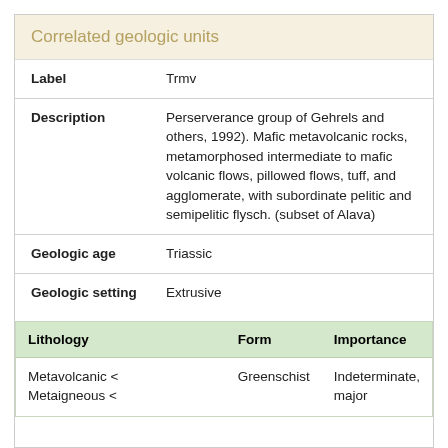Correlated geologic units
| Label | Trmv |
| Description | Perserverance group of Gehrels and others, 1992). Mafic metavolcanic rocks, metamorphosed intermediate to mafic volcanic flows, pillowed flows, tuff, and agglomerate, with subordinate pelitic and semipelitic flysch. (subset of Alava) |
| Geologic age | Triassic |
| Geologic setting | Extrusive |
| Lithology | Form | Importance |
| --- | --- | --- |
| Metavolcanic < Metaigneous < | Greenschist | Indeterminate, major |